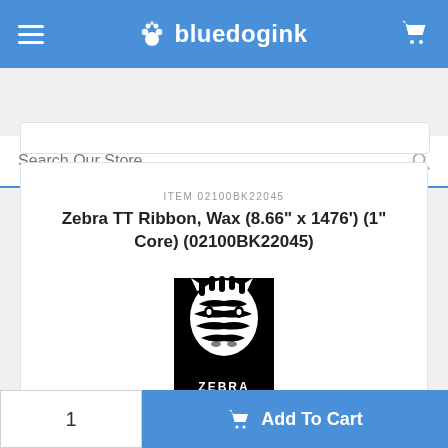bluedogink
Search Our Store
ITEM 02100BK22045
Zebra TT Ribbon, Wax (8.66" x 1476') (1" Core) (02100BK22045)
[Figure (logo): Zebra Technologies logo — black and white zebra head illustration above text reading ZEBRA TECHNOLOGIES]
1
Add To Cart